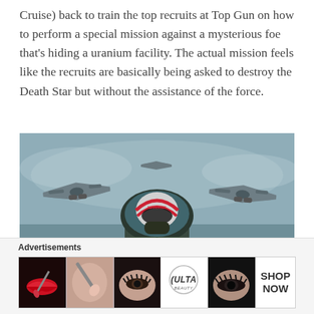Cruise) back to train the top recruits at Top Gun on how to perform a special mission against a mysterious foe that's hiding a uranium facility. The actual mission feels like the recruits are basically being asked to destroy the Death Star but without the assistance of the force.
[Figure (photo): Movie still from Top Gun: Maverick showing a fighter pilot (Tom Cruise) in a red-striped helmet labeled MAVERICK, seated in a jet cockpit viewed from front, with two F/A-18 fighter jets flanking on either side against a grey sky over water.]
Advertisements
[Figure (photo): Ulta Beauty advertisement banner showing close-up beauty/makeup photos: red lips with makeup brush, woman with eyeshadow, Ulta Beauty logo, woman with dramatic eye makeup, and SHOP NOW call-to-action.]